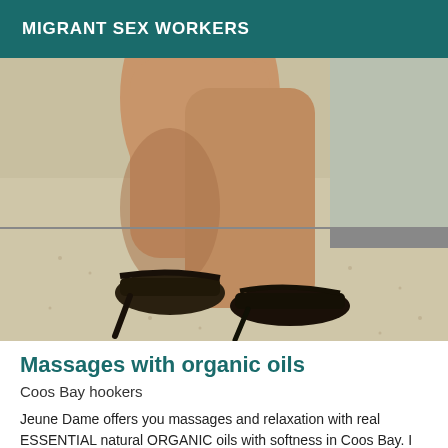MIGRANT SEX WORKERS
[Figure (photo): Close-up photograph of a person's legs and feet wearing black high-heel sandals, standing on a speckled floor near a light-colored wall.]
Massages with organic oils
Coos Bay hookers
Jeune Dame offers you massages and relaxation with real ESSENTIAL natural ORGANIC oils with softness in Coos Bay. I move and I receive. I only answer SMS and